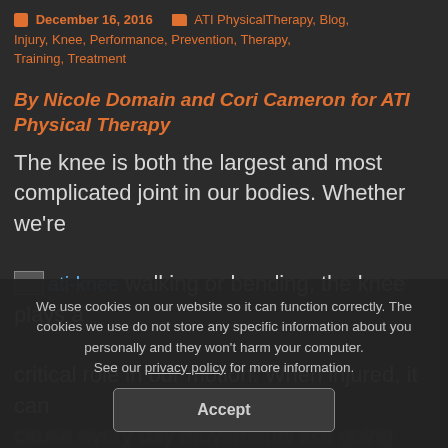December 16, 2016   ATI PhysicalTherapy, Blog, Injury, Knee, Performance, Prevention, Therapy, Training, Treatment
By Nicole Domain and Cori Cameron for ATI Physical Therapy
The knee is both the largest and most complicated joint in our bodies. Whether we're [ati-knee image] walking or bending, the knee plays a critical role in our motion. When injured, it can cause every day movements like going upstairs
We use cookies on our website so it can function correctly. The cookies we use do not store any specific information about you personally and they won't harm your computer. See our privacy policy for more information.
Accept